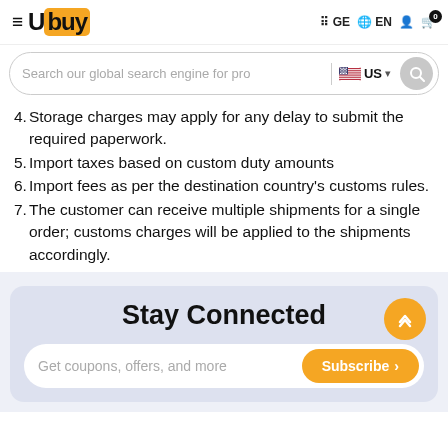Ubuy — GE EN [cart: 0]
[Figure (screenshot): Search bar with US flag and search button]
4. Storage charges may apply for any delay to submit the required paperwork.
5. Import taxes based on custom duty amounts
6. Import fees as per the destination country's customs rules.
7. The customer can receive multiple shipments for a single order; customs charges will be applied to the shipments accordingly.
Stay Connected
Get coupons, offers, and more  Subscribe >